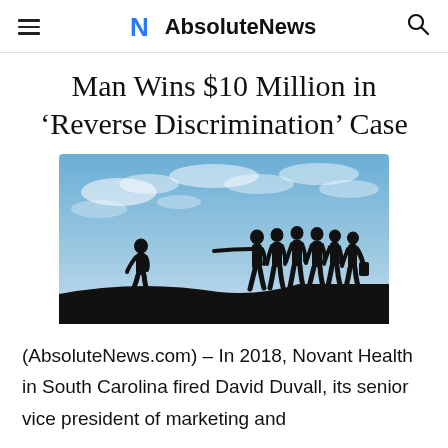AbsoluteNews
Man Wins $10 Million in ‘Reverse Discrimination’ Case
[Figure (photo): Silhouette of a lone person walking away from a group of people pointing at them, set against a blue cloudy sky backdrop on a cliff edge.]
(AbsoluteNews.com) – In 2018, Novant Health in South Carolina fired David Duvall, its senior vice president of marketing and